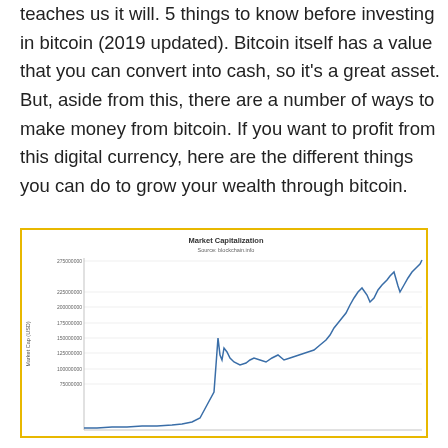teaches us it will. 5 things to know before investing in bitcoin (2019 updated). Bitcoin itself has a value that you can convert into cash, so it's a great asset. But, aside from this, there are a number of ways to make money from bitcoin. If you want to profit from this digital currency, here are the different things you can do to grow your wealth through bitcoin.
[Figure (continuous-plot): Source: blockchain.info. Line chart showing Bitcoin Market Cap (USD) over time, rising sharply toward the right side of the chart. Y-axis labels: 75000000, 100000000, 125000000, 150000000, 175000000, 200000000, 225000000, 275000000. The chart shows an exponential growth curve with a notable peak in the middle and then a steep rise at the far right.]